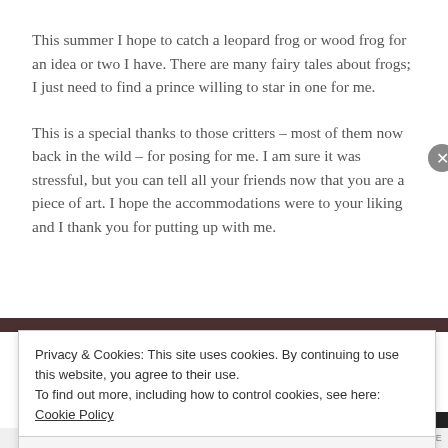This summer I hope to catch a leopard frog or wood frog for an idea or two I have. There are many fairy tales about frogs; I just need to find a prince willing to star in one for me.
This is a special thanks to those critters – most of them now back in the wild – for posing for me. I am sure it was stressful, but you can tell all your friends now that you are a piece of art. I hope the accommodations were to your liking and I thank you for putting up with me.
Privacy & Cookies: This site uses cookies. By continuing to use this website, you agree to their use.
To find out more, including how to control cookies, see here: Cookie Policy
Close and accept